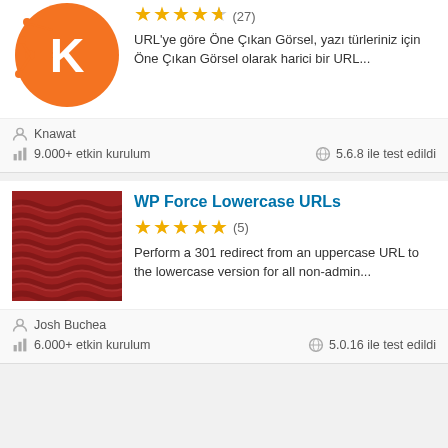[Figure (logo): Orange circular logo with K letter and connected dots (Knawat plugin logo)]
URL'ye göre Öne Çıkan Görsel, yazı türleriniz için Öne Çıkan Görsel olarak harici bir URL...
Knawat
9.000+ etkin kurulum
5.6.8 ile test edildi
WP Force Lowercase URLs
[Figure (illustration): Dark red wavy fabric texture image for WP Force Lowercase URLs plugin]
Perform a 301 redirect from an uppercase URL to the lowercase version for all non-admin...
Josh Buchea
6.000+ etkin kurulum
5.0.16 ile test edildi